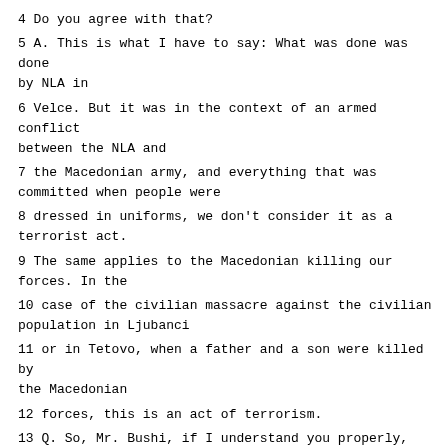4 Do you agree with that?
5 A. This is what I have to say: What was done was done by NLA in
6 Velce. But it was in the context of an armed conflict between the NLA and
7 the Macedonian army, and everything that was committed when people were
8 dressed in uniforms, we don't consider it as a terrorist act.
9 The same applies to the Macedonian killing our forces. In the
10 case of the civilian massacre against the civilian population in Ljubanci
11 or in Tetovo, when a father and a son were killed by the Macedonian
12 forces, this is an act of terrorism.
13 Q. So, Mr. Bushi, if I understand you properly, burning or setting
14 alight a person or shooting him at close range is all right if he wears a